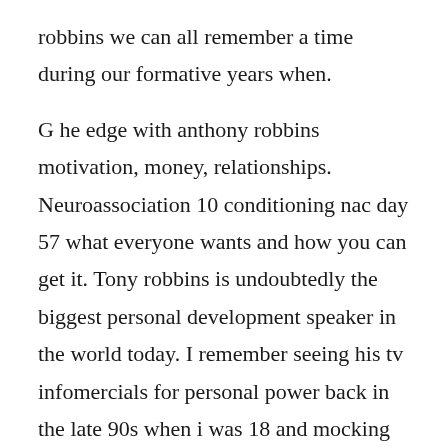robbins we can all remember a time during our formative years when.
G he edge with anthony robbins motivation, money, relationships. Neuroassociation 10 conditioning nac day 57 what everyone wants and how you can get it. Tony robbins is undoubtedly the biggest personal development speaker in the world today. I remember seeing his tv infomercials for personal power back in the late 90s when i was 18 and mocking him. Personal power is the ability to act, to take positive action and to